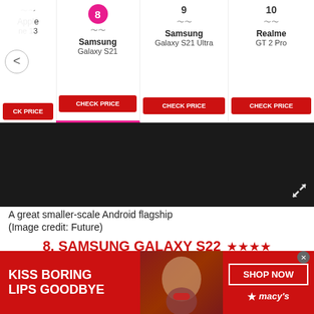[Figure (screenshot): Navigation bar showing ranked smartphones: item 8 Samsung Galaxy S21 (active/highlighted), item 9 Samsung Galaxy S21 Ultra, item 10 Realme GT 2 Pro, with CHECK PRICE buttons. Left edge shows partial Apple iPhone 13 item with back arrow.]
[Figure (photo): Dark product image area showing a Samsung Galaxy S22 phone with expand icon in bottom right.]
A great smaller-scale Android flagship
(Image credit: Future)
8. SAMSUNG GALAXY S22 ★★★★
The best small-scale Android flagship phone
SPECIFICATIONS
[Figure (photo): Advertisement banner for Macy's lipstick/lip product with woman's face showing red lips. Text reads: KISS BORING LIPS GOODBYE. SHOP NOW. ★macy's]